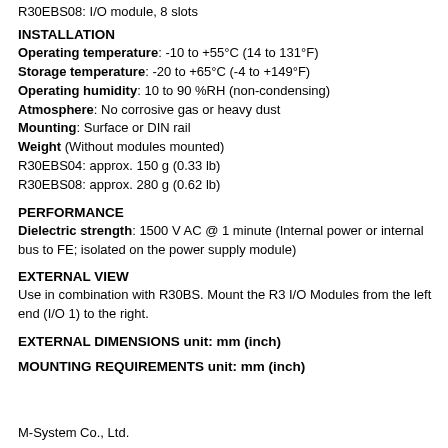R30EBS08: I/O module, 8 slots
INSTALLATION
Operating temperature: -10 to +55°C (14 to 131°F)
Storage temperature: -20 to +65°C (-4 to +149°F)
Operating humidity: 10 to 90 %RH (non-condensing)
Atmosphere: No corrosive gas or heavy dust
Mounting: Surface or DIN rail
Weight (Without modules mounted)
R30EBS04: approx. 150 g (0.33 lb)
R30EBS08: approx. 280 g (0.62 lb)
PERFORMANCE
Dielectric strength: 1500 V AC @ 1 minute (Internal power or internal bus to FE; isolated on the power supply module)
EXTERNAL VIEW
Use in combination with R30BS. Mount the R3 I/O Modules from the left end (I/O 1) to the right.
EXTERNAL DIMENSIONS unit: mm (inch)
MOUNTING REQUIREMENTS unit: mm (inch)
M-System Co., Ltd.